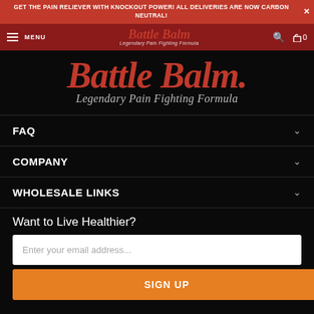GET THE PAIN RELIEVER WITH KNOCKOUT POWER! ALL DELIVERIES ARE NOW CARBON NEUTRAL!
MENU | Battle Balm – Legendary Pain Fighting Formula | Search | Cart 0
[Figure (logo): Battle Balm logo with text 'Battle Balm' in large red italic script and tagline 'Legendary Pain Fighting Formula' below in grey italic]
FAQ
COMPANY
WHOLESALE LINKS
Want to Live Healthier?
Enter your email address...
SIGN UP